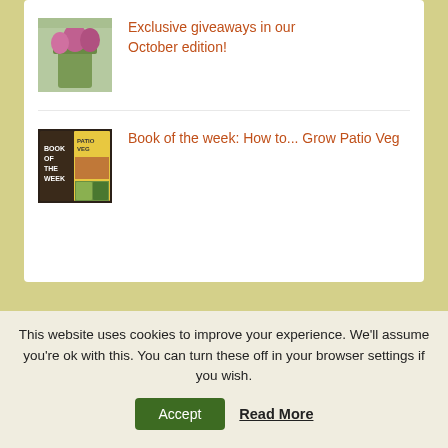[Figure (photo): Thumbnail image of flowers in a green planter]
Exclusive giveaways in our October edition!
[Figure (photo): Book cover showing 'Book of the Week - Patio Veg']
Book of the week: How to... Grow Patio Veg
This website uses cookies to improve your experience. We'll assume you're ok with this. You can turn these off in your browser settings if you wish.
Accept
Read More